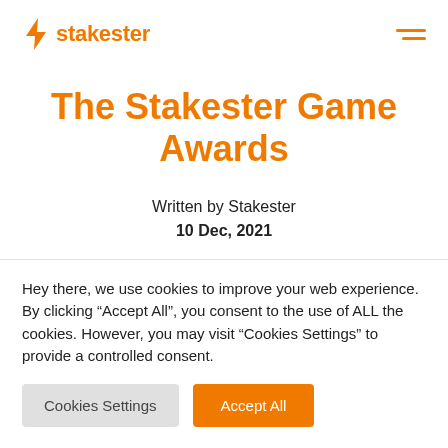stakester
The Stakester Game Awards
Written by Stakester
10 Dec, 2021
Hey there, we use cookies to improve your web experience. By clicking “Accept All”, you consent to the use of ALL the cookies. However, you may visit “Cookies Settings” to provide a controlled consent.
Cookies Settings | Accept All